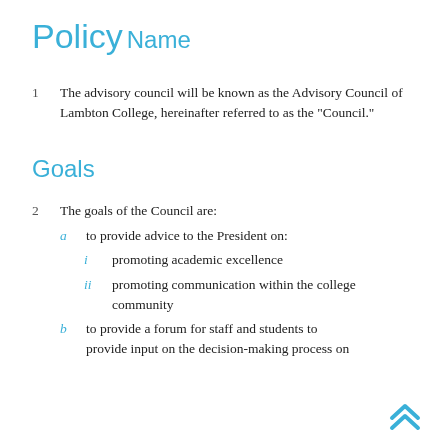Policy
Name
1    The advisory council will be known as the Advisory Council of Lambton College, hereinafter referred to as the "Council."
Goals
2    The goals of the Council are:
a    to provide advice to the President on:
i    promoting academic excellence
ii    promoting communication within the college community
b    to provide a forum for staff and students to provide input on the decision-making process on